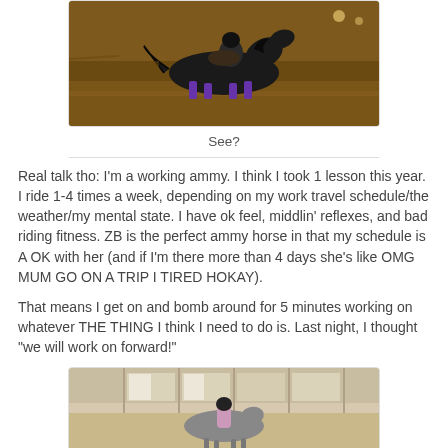[Figure (photo): A dark horse with a rider galloping in an indoor/outdoor riding arena at night, horse wearing purple leg wraps]
See?
Real talk tho: I'm a working ammy. I think I took 1 lesson this year. I ride 1-4 times a week, depending on my work travel schedule/the weather/my mental state. I have ok feel, middlin' reflexes, and bad riding fitness. ZB is the perfect ammy horse in that my schedule is A OK with her (and if I'm there more than 4 days she's like OMG MUM GO ON A TRIP I TIRED HOKAY).
That means I get on and bomb around for 5 minutes working on whatever THE THING I think I need to do is. Last night, I thought "we will work on forward!"
[Figure (photo): A rider on a horse in an indoor arena with windows/panels visible in the background, rider wearing a light purple top]